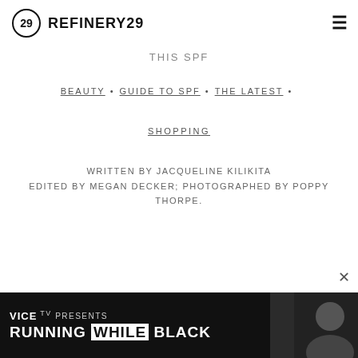REFINERY29
THIS SPF
BEAUTY • GUIDE TO SPF • THE LATEST •
SHOPPING
WRITTEN BY JACQUELINE KILIKITA
EDITED BY MEGAN DECKER; PHOTOGRAPHED BY POPPY THORPE.
[Figure (other): Gray rounded rectangle placeholder]
[Figure (other): VICE TV advertisement banner: VICE TV PRESENTS RUNNING WHILE BLACK with photo of a person]